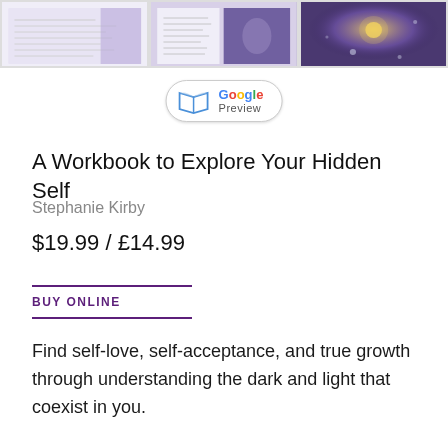[Figure (screenshot): Three thumbnail preview images of book pages arranged in a row at the top, showing purple-toned book interior pages]
[Figure (logo): Google Preview button with open book icon, Google logo in multicolor and 'Preview' text below]
A Workbook to Explore Your Hidden Self
Stephanie Kirby
$19.99 / £14.99
BUY ONLINE
Find self-love, self-acceptance, and true growth through understanding the dark and light that coexist in you.